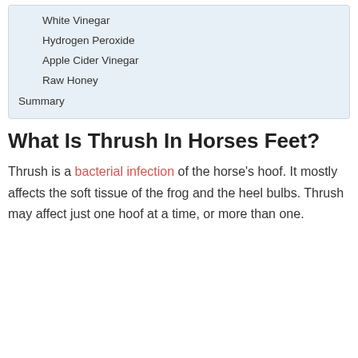White Vinegar
Hydrogen Peroxide
Apple Cider Vinegar
Raw Honey
Summary
What Is Thrush In Horses Feet?
Thrush is a bacterial infection of the horse's hoof. It mostly affects the soft tissue of the frog and the heel bulbs. Thrush may affect just one hoof at a time, or more than one.